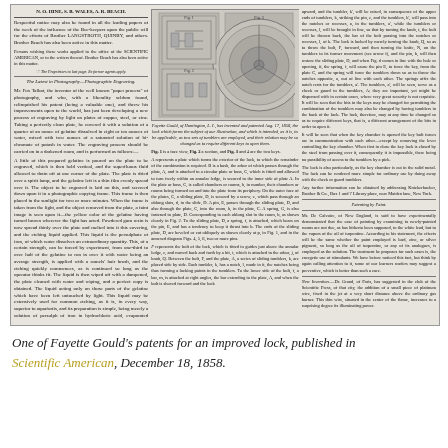[Figure (illustration): Scanned newspaper page from Scientific American showing text columns and engravings of Fayette Gould's improved lock patent, with mechanical diagrams of the lock mechanism and a circular lock face illustration.]
One of Fayette Gould's patents for an improved lock, published in Scientific American, December 18, 1858.